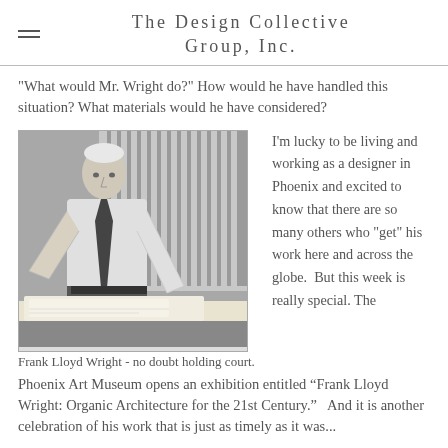The Design Collective Group, Inc.
"What would Mr. Wright do?"  How would he have handled this situation?  What materials would he have considered?
[Figure (photo): Black and white photograph of Frank Lloyd Wright leaning over a drafting table, looking at the camera.]
I'm lucky to be living and working as a designer in Phoenix and excited to know that there are so many others who "get" his work here and across the globe.  But this week is really special. The
Frank Lloyd Wright - no doubt holding court.
Phoenix Art Museum opens an exhibition entitled “Frank Lloyd Wright: Organic Architecture for the 21st Century.”   And it is another celebration of his work that is just as timely as it was...